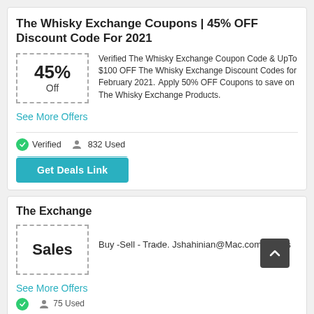The Whisky Exchange Coupons | 45% OFF Discount Code For 2021
[Figure (infographic): Dashed-border coupon box showing 45% Off]
Verified The Whisky Exchange Coupon Code & UpTo $100 OFF The Whisky Exchange Discount Codes for February 2021. Apply 50% OFF Coupons to save on The Whisky Exchange Products.
See More Offers
Verified   832 Used
Get Deals Link
The Exchange
[Figure (infographic): Dashed-border coupon box showing Sales]
Buy -Sell - Trade. Jshahinian@Mac.com. Hours
See More Offers
Verified   75 Used